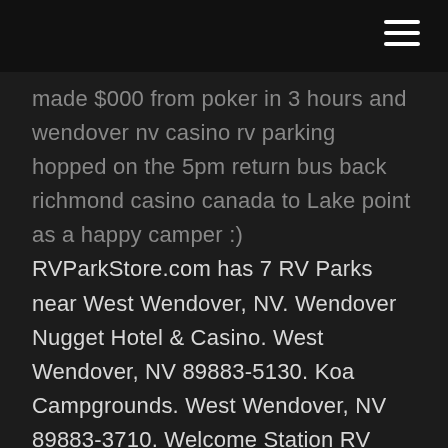made $000 from poker in 3 hours and Wendover NV casino rv parking hopped on the 5pm return bus back richmond casino canada to Lake point as a happy camper :) RVParkStore.com has 7 RV Parks near West Wendover, NV. Wendover Nugget Hotel & Casino. West Wendover, NV 89883-5130. Koa Campgrounds. West Wendover, NV 89883-3710. Welcome Station RV Park. Wells, NV 89835-0755. Welcome Station Campground. 1 Welcome Ln Wells, NV 89835. Beverly Hills RV Ranch. West Wendover Welcome Center Florence Way. West Wendover, NV 89883, US You can see it as you come downhill into Wendover from the west. From the east, just get off at the 'main' Wendover exit and either turn left at the light to park in the small(er) Casino lot, or turn right just before the light and wade into the